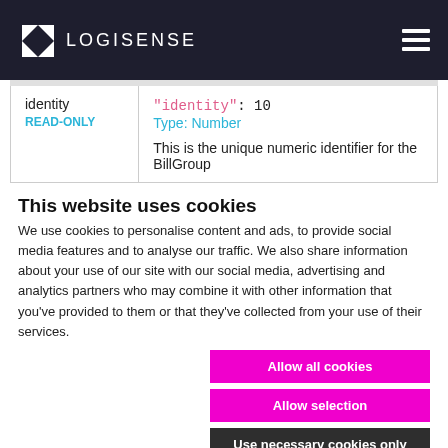[Figure (logo): Logisense logo and navigation header bar with hamburger menu icon on dark navy background]
| Field | Details |
| --- | --- |
| identity
READ-ONLY | "identity": 10
Type: Number
This is the unique numeric identifier for the BillGroup |
This website uses cookies
We use cookies to personalise content and ads, to provide social media features and to analyse our traffic. We also share information about your use of our site with our social media, advertising and analytics partners who may combine it with other information that you've provided to them or that they've collected from your use of their services.
Allow all cookies
Allow selection
Use necessary cookies only
Necessary   Preferences   Statistics   Marketing   Show details